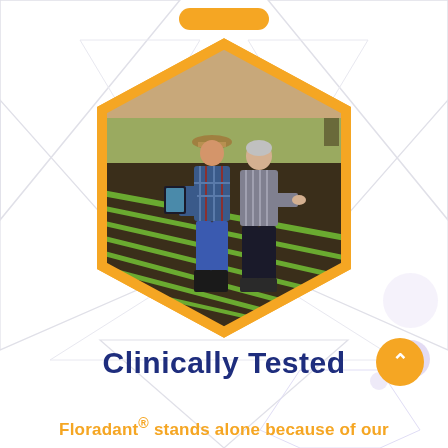[Figure (photo): Orange hexagon-shaped frame containing a photo of two men standing in an agricultural field with rows of green crops. One man wears a plaid shirt, hat, and boots; the other wears a striped shirt. Background shows farm structures.]
Clinically Tested
Floradant® stands alone because of our